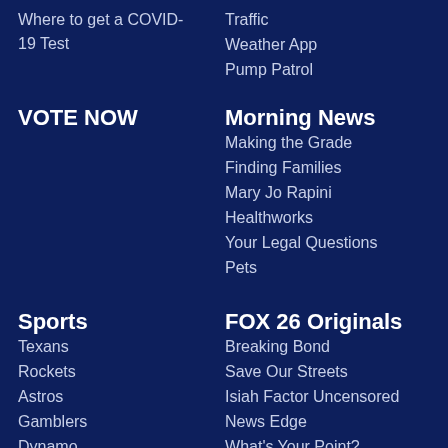Where to get a COVID-19 Test
Traffic
Weather App
Pump Patrol
VOTE NOW
Morning News
Making the Grade
Finding Families
Mary Jo Rapini
Healthworks
Your Legal Questions
Pets
Sports
FOX 26 Originals
Texans
Breaking Bond
Rockets
Save Our Streets
Astros
Isiah Factor Uncensored
Gamblers
News Edge
Dynamo
What's Your Point?